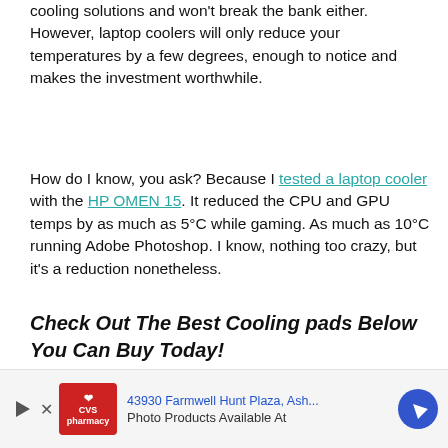cooling solutions and won't break the bank either. However, laptop coolers will only reduce your temperatures by a few degrees, enough to notice and makes the investment worthwhile.
How do I know, you ask? Because I tested a laptop cooler with the HP OMEN 15. It reduced the CPU and GPU temps by as much as 5°C while gaming. As much as 10°C running Adobe Photoshop. I know, nothing too crazy, but it's a reduction nonetheless.
Check Out The Best Cooling pads Below You Can Buy Today!
[Figure (other): Product listing box with a green SALE badge in the top right corner]
[Figure (other): Advertisement bar showing CVS Pharmacy logo, address '43930 Farmwell Hunt Plaza, Ash...', text 'Photo Products Available At', navigation arrow icon, play button and close button]